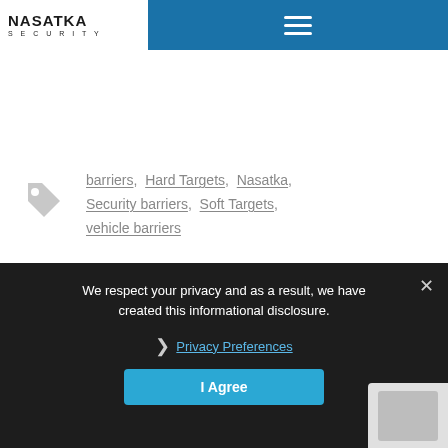NASATKA SECURITY
barriers, Hard Targets, Nasatka, Security barriers, Soft Targets, vehicle barriers
We respect your privacy and as a result, we have created this informational disclosure.
Privacy Preferences
I Agree